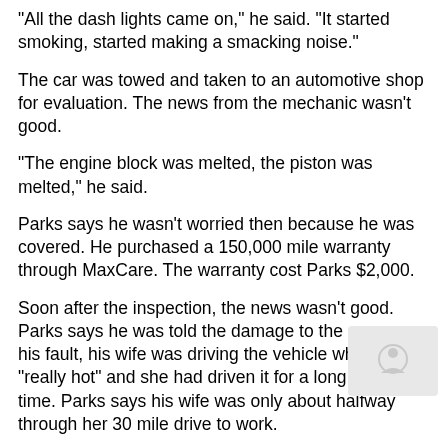"All the dash lights came on," he said. "It started smoking, started making a smacking noise."
The car was towed and taken to an automotive shop for evaluation. The news from the mechanic wasn't good.
"The engine block was melted, the piston was melted," he said.
Parks says he wasn't worried then because he was covered. He purchased a 150,000 mile warranty through MaxCare. The warranty cost Parks $2,000.
Soon after the inspection, the news wasn't good. Parks says he was told the damage to the car was his fault, his wife was driving the vehicle while it was "really hot" and she had driven it for a long period of time. Parks says his wife was only about halfway through her 30 mile drive to work.
He would have to pay for the repairs himself.
"I feel like it was a money grab, like they just wanted..."